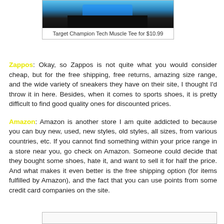[Figure (photo): Product photo of a person wearing a blue muscle tee shirt with dark pants, partially cropped]
Target Champion Tech Muscle Tee for $10.99
Zappos: Okay, so Zappos is not quite what you would consider cheap, but for the free shipping, free returns, amazing size range, and the wide variety of sneakers they have on their site, I thought I'd throw it in here. Besides, when it comes to sports shoes, it is pretty difficult to find good quality ones for discounted prices.
Amazon: Amazon is another store I am quite addicted to because you can buy new, used, new styles, old styles, all sizes, from various countries, etc. If you cannot find something within your price range in a store near you, go check on Amazon. Someone could decide that they bought some shoes, hate it, and want to sell it for half the price. And what makes it even better is the free shipping option (for items fulfilled by Amazon), and the fact that you can use points from some credit card companies on the site.
[Figure (photo): Bottom partially visible product image box]